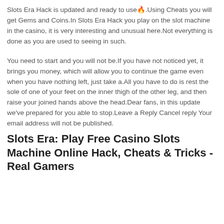Slots Era Hack is updated and ready to use🔥.Using Cheats you will get Gems and Coins.In Slots Era Hack you play on the slot machine in the casino, it is very interesting and unusual here.Not everything is done as you are used to seeing in such.
You need to start and you will not be.If you have not noticed yet, it brings you money, which will allow you to continue the game even when you have nothing left, just take a.All you have to do is rest the sole of one of your feet on the inner thigh of the other leg, and then raise your joined hands above the head.Dear fans, in this update we've prepared for you able to stop.Leave a Reply Cancel reply Your email address will not be published.
Slots Era: Play Free Casino Slots Machine Online Hack, Cheats & Tricks - Real Gamers